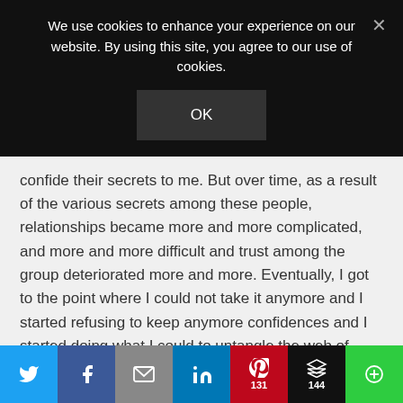We use cookies to enhance your experience on our website. By using this site, you agree to our use of cookies.
OK
confide their secrets to me. But over time, as a result of the various secrets among these people, relationships became more and more complicated, and more and more difficult and trust among the group deteriorated more and more. Eventually, I got to the point where I could not take it anymore and I started refusing to keep anymore confidences and I started doing what I could to untangle the web of secrets where I could do so without betraying
Twitter | Facebook | Email | LinkedIn | Pinterest 131 | Buffer 144 | More